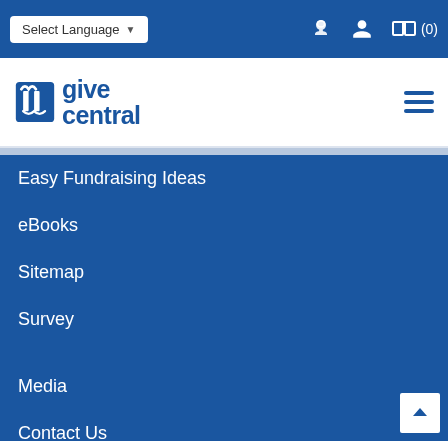Select Language (0)
[Figure (logo): Give Central logo with stylized M icon and text 'give central' in blue]
Easy Fundraising Ideas
eBooks
Sitemap
Survey
Media
Contact Us
Acceptable use policy
Terms of Use – Donors
Terms of Use – Charities
Privacy Policy